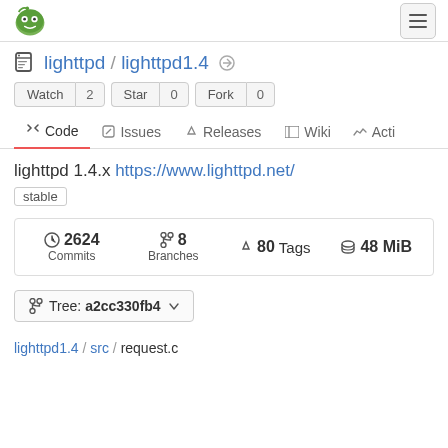[Figure (logo): Gitea green logo icon in top left]
[Figure (other): Hamburger menu button in top right]
lighttpd / lighttpd1.4
Watch 2   Star 0   Fork 0
<> Code   Issues   Releases   Wiki   Acti
lighttpd 1.4.x https://www.lighttpd.net/
stable
2624 Commits   8 Branches   80 Tags   48 MiB
Tree: a2cc330fb4
lighttpd1.4 / src / request.c